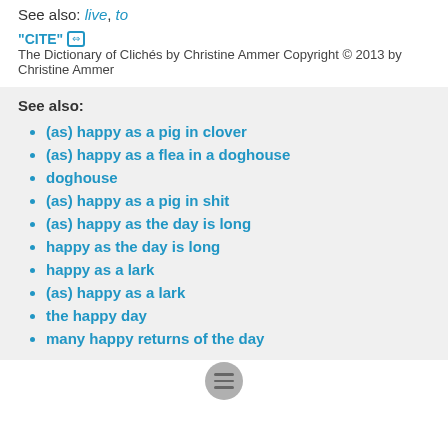See also: live, to
"CITE" [link icon] The Dictionary of Clichés by Christine Ammer Copyright © 2013 by Christine Ammer
See also:
(as) happy as a pig in clover
(as) happy as a flea in a doghouse
doghouse
(as) happy as a pig in shit
(as) happy as the day is long
happy as the day is long
happy as a lark
(as) happy as a lark
the happy day
many happy returns of the day